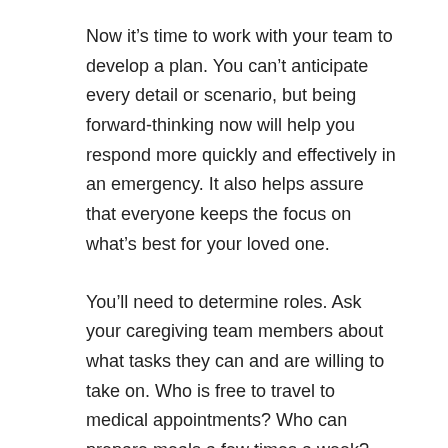Now it's time to work with your team to develop a plan. You can't anticipate every detail or scenario, but being forward-thinking now will help you respond more quickly and effectively in an emergency. It also helps assure that everyone keeps the focus on what's best for your loved one.
You'll need to determine roles. Ask your caregiving team members about what tasks they can and are willing to take on. Who is free to travel to medical appointments? Who can prepare meals a few times a week? Who can be responsible for bill paying?
Finally, summarize the plan in writing. A written record will assure everyone is on the same page and help avoid misunderstandings (while remembering, of